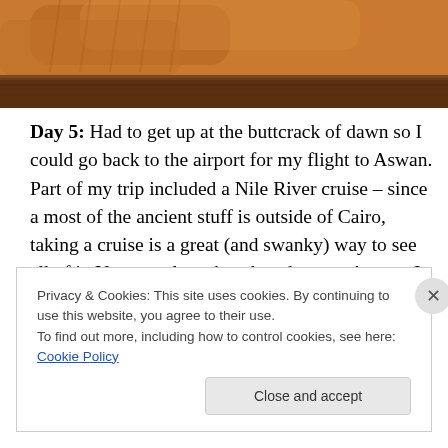[Figure (photo): Top portion of a photo showing orange/brown knitted socks with a wooden furniture piece (likely a dresser or cabinet) in the background.]
Day 5: Had to get up at the buttcrack of dawn so I could go back to the airport for my flight to Aswan. Part of my trip included a Nile River cruise – since a most of the ancient stuff is outside of Cairo, taking a cruise is a great (and swanky) way to see all of it. You can also take a bus down to Aswan, I guess, but I was warned that they are terrible and honestly my round trip flights were not much more expensive than the bus. Plus, they were faster.
Privacy & Cookies: This site uses cookies. By continuing to use this website, you agree to their use.
To find out more, including how to control cookies, see here: Cookie Policy
Close and accept